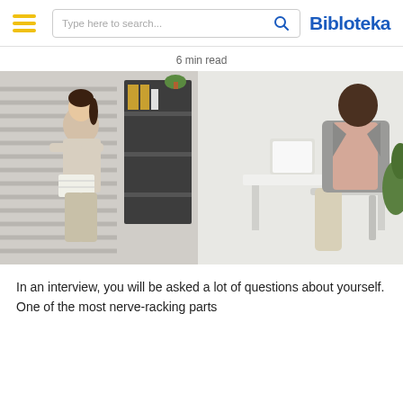Bibloteka — navigation header with hamburger menu, search box, and logo
6 min read
[Figure (photo): Two people in a job interview setting. On the left, a woman in a beige blazer sits holding a notebook and gesturing while speaking. On the right, a man in a grey blazer and light pink shirt sits listening in a modern office environment with plants and shelving in the background.]
In an interview, you will be asked a lot of questions about yourself. One of the most nerve-racking parts